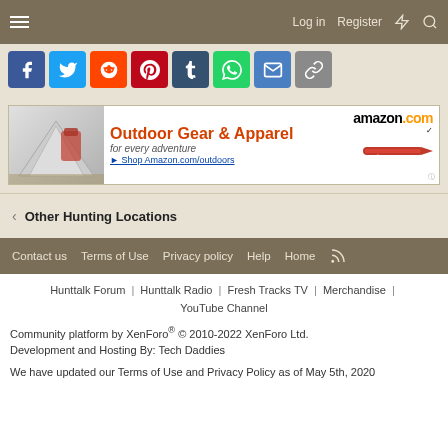Log in  Register
[Figure (infographic): Social sharing icons: Facebook, Twitter, Reddit, Pinterest, Tumblr, WhatsApp, Email, Link]
[Figure (infographic): Amazon banner ad: Outdoor Gear & Apparel for every adventure, Shop Amazon.com/outdoors, amazon.com logo with knife image]
< Other Hunting Locations
Contact us  Terms of Use  Privacy policy  Help  Home
Hunttalk Forum | Hunttalk Radio | Fresh Tracks TV | Merchandise | YouTube Channel
Community platform by XenForo® © 2010-2022 XenForo Ltd.
Development and Hosting By: Tech Daddies
We have updated our Terms of Use and Privacy Policy as of May 5th, 2020